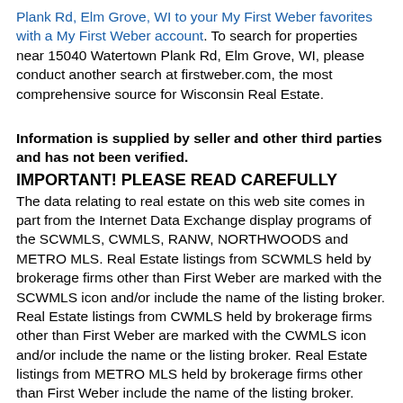Plank Rd, Elm Grove, WI to your My First Weber favorites with a My First Weber account. To search for properties near 15040 Watertown Plank Rd, Elm Grove, WI, please conduct another search at firstweber.com, the most comprehensive source for Wisconsin Real Estate.
Information is supplied by seller and other third parties and has not been verified.
IMPORTANT! PLEASE READ CAREFULLY
The data relating to real estate on this web site comes in part from the Internet Data Exchange display programs of the SCWMLS, CWMLS, RANW, NORTHWOODS and METRO MLS. Real Estate listings from SCWMLS held by brokerage firms other than First Weber are marked with the SCWMLS icon and/or include the name of the listing broker. Real Estate listings from CWMLS held by brokerage firms other than First Weber are marked with the CWMLS icon and/or include the name or the listing broker. Real Estate listings from METRO MLS held by brokerage firms other than First Weber include the name of the listing broker.
The material at this site is provide solely for informational purposes and does not constitute an offer to sell, rent or advertise real estate outside the state of Wisconsin. First Weber is not